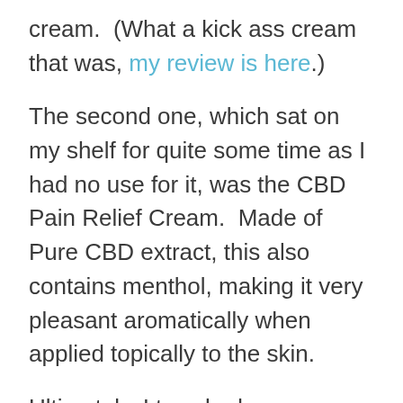cream.  (What a kick ass cream that was, my review is here.)
The second one, which sat on my shelf for quite some time as I had no use for it, was the CBD Pain Relief Cream.  Made of Pure CBD extract, this also contains menthol, making it very pleasant aromatically when applied topically to the skin.
Ultimately, I tweaked my shoulder going a little hard on the military presses one day.  This was my time to give this product a shot.
Applying the product liberally to the affected